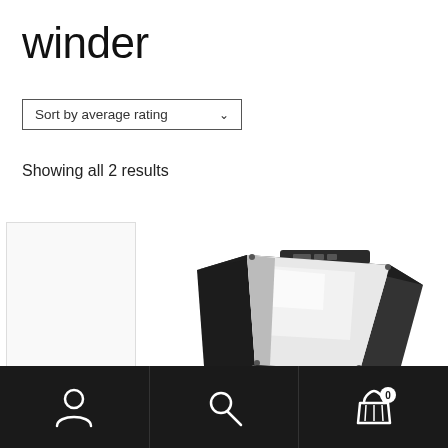winder
Sort by average rating
Showing all 2 results
[Figure (photo): Black folding monitor shade/hood product shown at an angle, revealing a mirror-like interior screen surface. A partial white rectangle representing a second product card is visible to the left.]
Navigation bar with account icon, search icon, and cart icon showing 0 items